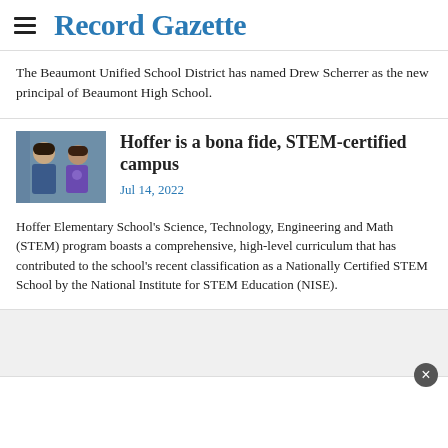Record Gazette
The Beaumont Unified School District has named Drew Scherrer as the new principal of Beaumont High School.
[Figure (photo): Photo of two students at Hoffer Elementary School]
Hoffer is a bona fide, STEM-certified campus
Jul 14, 2022
Hoffer Elementary School's Science, Technology, Engineering and Math (STEM) program boasts a comprehensive, high-level curriculum that has contributed to the school's recent classification as a Nationally Certified STEM School by the National Institute for STEM Education (NISE).